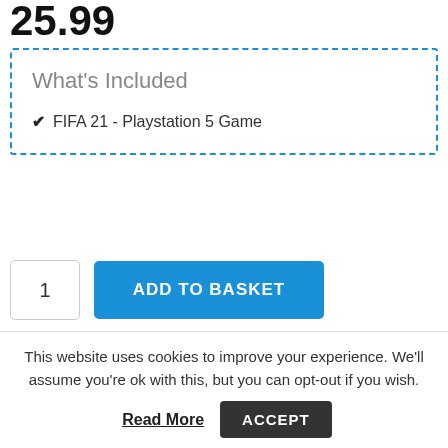25.99
What's Included
FIFA 21 - Playstation 5 Game
1
ADD TO BASKET
Add to Wishlist
This website uses cookies to improve your experience. We'll assume you're ok with this, but you can opt-out if you wish.
Read More
ACCEPT